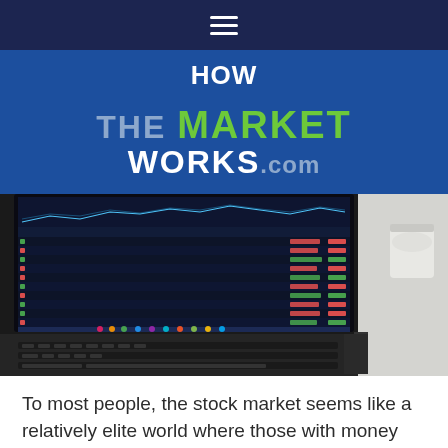≡ (navigation menu icon)
[Figure (logo): HOW THE MARKET WORKS.com logo on blue background]
[Figure (photo): Laptop computer displaying stock market trading data with colorful charts and financial tables on screen]
To most people, the stock market seems like a relatively elite world where those with money get countless opportunities to make even more money. However, even those with smaller budgets can seize the chance to profit on the